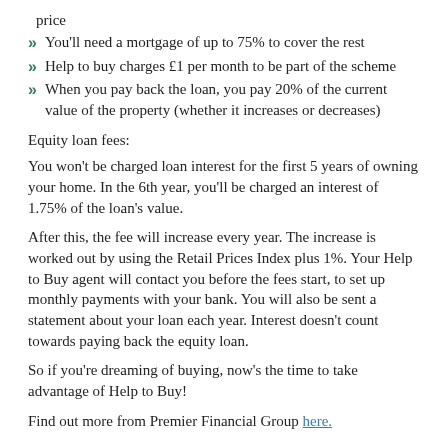price
You'll need a mortgage of up to 75% to cover the rest
Help to buy charges £1 per month to be part of the scheme
When you pay back the loan, you pay 20% of the current value of the property (whether it increases or decreases)
Equity loan fees:
You won't be charged loan interest for the first 5 years of owning your home. In the 6th year, you'll be charged an interest of 1.75% of the loan's value.
After this, the fee will increase every year. The increase is worked out by using the Retail Prices Index plus 1%. Your Help to Buy agent will contact you before the fees start, to set up monthly payments with your bank. You will also be sent a statement about your loan each year. Interest doesn't count towards paying back the equity loan.
So if you're dreaming of buying, now's the time to take advantage of Help to Buy!
Find out more from Premier Financial Group here.